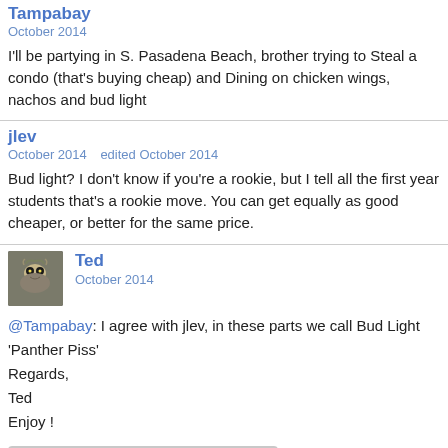Tampabay
October 2014
I'll be partying in S. Pasadena Beach, brother trying to Steal a condo (that's buying cheap) and Dining on chicken wings, nachos and bud light
jlev
October 2014   edited October 2014
Bud light? I don't know if you're a rookie, but I tell all the first year students that's a rookie move. You can get equally as good cheaper, or better for the same price.
Ted
October 2014
@Tampabay: I agree with jlev, in these parts we call Bud Light 'Panther Piss'
Regards,
Ted
Enjoy !
[Figure (photo): A placeholder image showing a dark rounded rectangle with three small white dots on a light gray background, resembling a loading or media placeholder.]